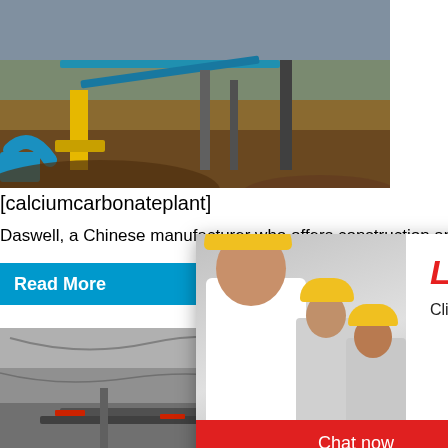[Figure (photo): Aerial view of a calcium carbonate mining/construction plant with machinery, conveyor belts, and excavators on a large open-pit site]
[calciumcarbonateplant]
Daswell, a Chinese manufacturer who offers construction an...
[Figure (photo): Live chat popup overlay showing a woman in white shirt and workers in yellow helmets with LIVE CHAT heading in red italic text, subtitle 'Click for a Free Consultation', Chat now button (red) and Chat later button (dark gray)]
Read More
hour online
[Figure (photo): Mining quarry site with large rock face, machinery and conveyors]
Mineral Plants and Solution ...
...
Henan D
[Figure (photo): Right sidebar showing a cone crusher machine on blue background with 'Click me to chat>>' button, Enquiry section, and limingjlmofen text]